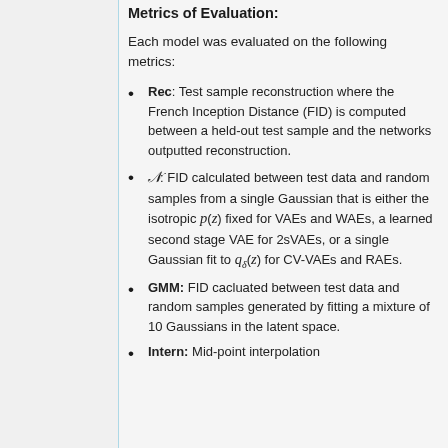Metrics of Evaluation:
Each model was evaluated on the following metrics:
Rec: Test sample reconstruction where the French Inception Distance (FID) is computed between a held-out test sample and the networks outputted reconstruction.
N: FID calculated between test data and random samples from a single Gaussian that is either the isotropic p(z) fixed for VAEs and WAEs, a learned second stage VAE for 2sVAEs, or a single Gaussian fit to q_delta(z) for CV-VAEs and RAEs.
GMM: FID cacluated between test data and random samples generated by fitting a mixture of 10 Gaussians in the latent space.
Intern: Mid-point interpolation